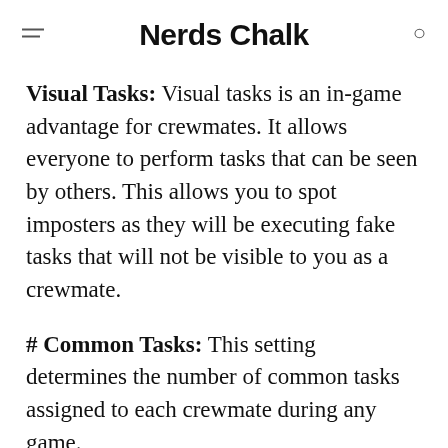Nerds Chalk
Visual Tasks: Visual tasks is an in-game advantage for crewmates. It allows everyone to perform tasks that can be seen by others. This allows you to spot imposters as they will be executing fake tasks that will not be visible to you as a crewmate.
# Common Tasks: This setting determines the number of common tasks assigned to each crewmate during any game.
# Long Tasks: This setting dictates the